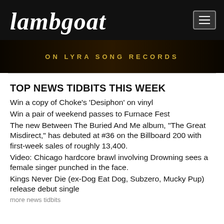Lambgoat
[Figure (screenshot): Dark banner image with text ON LYRA SONG RECORDS in gold/yellow letters on a dark background]
TOP NEWS TIDBITS THIS WEEK
Win a copy of Choke's 'Desiphon' on vinyl
Win a pair of weekend passes to Furnace Fest
The new Between The Buried And Me album, "The Great Misdirect," has debuted at #36 on the Billboard 200 with first-week sales of roughly 13,400.
Video: Chicago hardcore brawl involving Drowning sees a female singer punched in the face.
Kings Never Die (ex-Dog Eat Dog, Subzero, Mucky Pup) release debut single
more news tidbits